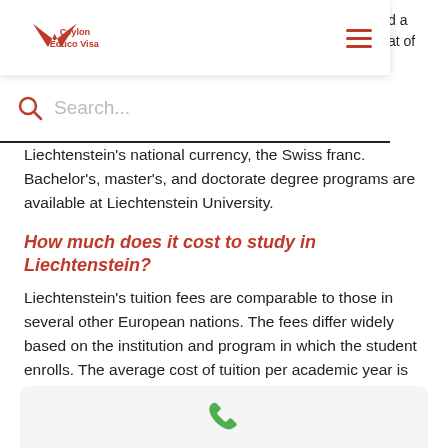Ceylon Educo Visa — navigation bar with logo and hamburger menu
d a
at of
Search...
Liechtenstein's national currency, the Swiss franc. Bachelor's, master's, and doctorate degree programs are available at Liechtenstein University.
How much does it cost to study in Liechtenstein?
Liechtenstein's tuition fees are comparable to those in several other European nations. The fees differ widely based on the institution and program in which the student enrolls. The average cost of tuition per academic year is CHF 4,946. (EUR 4,000; USD 5,132).
[Figure (other): Phone/call icon in green color at the bottom of the page]